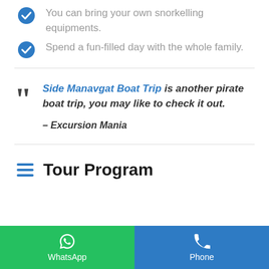You can bring your own snorkelling equipments.
Spend a fun-filled day with the whole family.
Side Manavgat Boat Trip is another pirate boat trip, you may like to check it out.

– Excursion Mania
Tour Program
WhatsApp | Phone